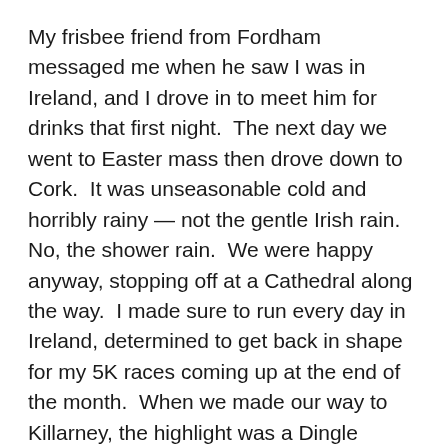My frisbee friend from Fordham messaged me when he saw I was in Ireland, and I drove in to meet him for drinks that first night.  The next day we went to Easter mass then drove down to Cork.  It was unseasonable cold and horribly rainy — not the gentle Irish rain.  No, the shower rain.  We were happy anyway, stopping off at a Cathedral along the way.  I made sure to run every day in Ireland, determined to get back in shape for my 5K races coming up at the end of the month.  When we made our way to Killarney, the highlight was a Dingle Peninsula tour where we stopped to HOLD BABY LAMBS!
I'm obsessed with sheep, so this was a dream come true.  The car broke down another day, and that led to a series of adventures but we ended the trip in Malahide on my mother's birthday.  I arranged for our friend Mary Bridget